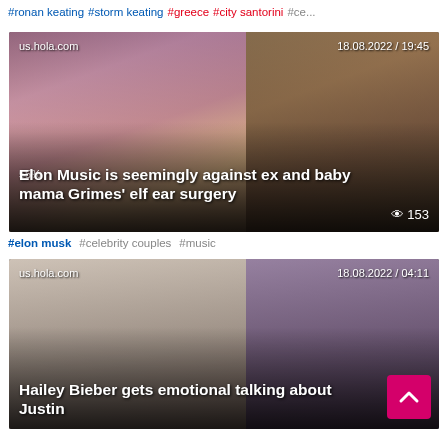#ronan keating #storm keating #greece #city santorini #ce...
[Figure (photo): News article card with two photos side by side: left shows Grimes with fantasy/elf styling and blonde/pink hair, right shows Elon Musk in a dark suit. Source label: us.hola.com, Date/time: 18.08.2022 / 19:45. Headline: Elon Music is seemingly against ex and baby mama Grimes' elf ear surgery. View count: 153]
#elon musk #celebrity couples #music
[Figure (photo): News article card with two photos side by side: left shows Justin Bieber in black sunglasses and white shirt, right shows Hailey Bieber with purple-tinted hair. Source label: us.hola.com, Date/time: 18.08.2022 / 04:11. Headline: Hailey Bieber gets emotional talking about Justin. Back to top pink button visible.]